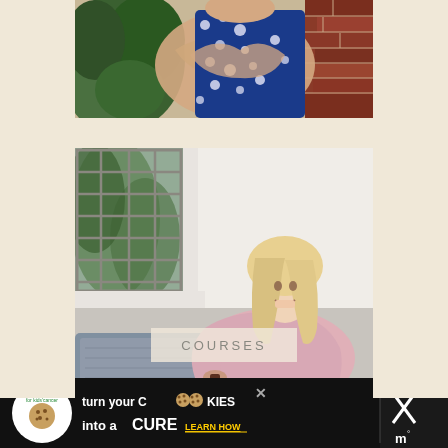[Figure (photo): Woman in blue and white patterned dress with arms crossed, standing against a brick wall with green plants/foliage on the left side]
[Figure (photo): Blonde woman in a pink sweater sitting on a couch, smiling, with a large grid window showing green plants in the background. Text overlay reads COURSES.]
COURSES
[Figure (photo): Advertisement banner: cookies for kids cancer - turn your COOKIES into a CURE LEARN HOW, with a Mediavine logo on the right]